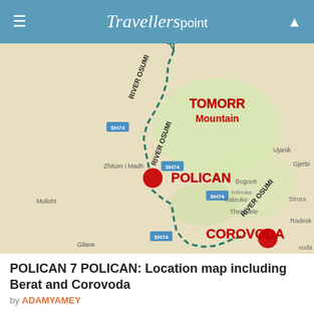Travellerspoint
[Figure (map): Location map of Albania showing River Osumi route between Polican and Corovoda, with Tomorr Mountain labeled, road SH74 marked, and red dot markers at Polican and Corovoda]
POLICAN 7 POLICAN: Location map including Berat and Corovoda
by ADAMYAMEY